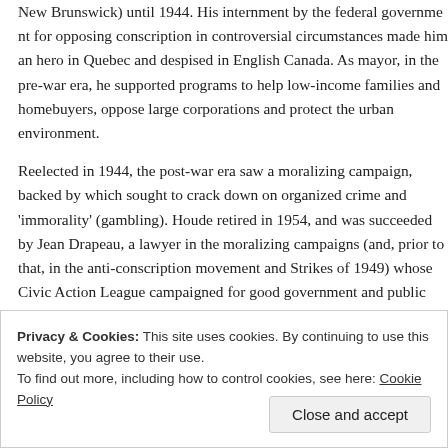New Brunswick) until 1944. His internment by the federal government for opposing conscription in controversial circumstances made him an hero in Quebec and despised in English Canada. As mayor, in the pre-war era, he supported programs to help low-income families and homebuyers, oppose large corporations and protect the urban environment.
Reelected in 1944, the post-war era saw a moralizing campaign, backed by which sought to crack down on organized crime and 'immorality' (gambling). Houde retired in 1954, and was succeeded by Jean Drapeau, a lawyer in the moralizing campaigns (and, prior to that, in the anti-conscription movement and Strikes of 1949) whose Civic Action League campaigned for good government and public morality.
Opposed by unions and Duplessis, Drapeau was defeated in the 1957 election by a federal Liberal senator backed by Duplessis' conservative machine.
Privacy & Cookies: This site uses cookies. By continuing to use this website, you agree to their use. To find out more, including how to control cookies, see here: Cookie Policy